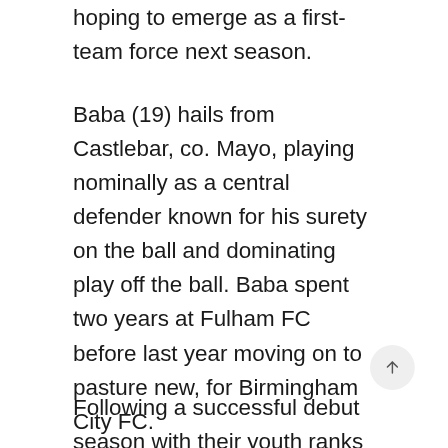hoping to emerge as a first-team force next season.
Baba (19) hails from Castlebar, co. Mayo, playing nominally as a central defender known for his surety on the ball and dominating play off the ball. Baba spent two years at Fulham FC before last year moving on to pasture new, for Birmingham City FC.
Following a successful debut season with their youth ranks Baba has